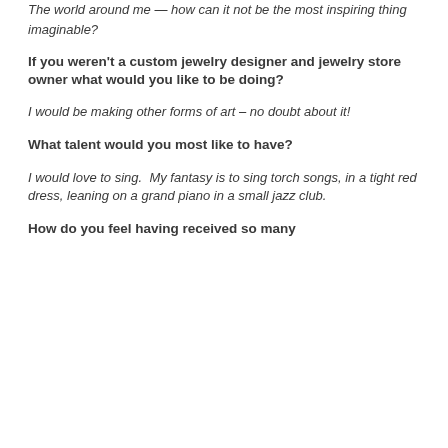The world around me — how can it not be the most inspiring thing imaginable?
If you weren't a custom jewelry designer and jewelry store owner what would you like to be doing?
I would be making other forms of art – no doubt about it!
What talent would you most like to have?
I would love to sing.  My fantasy is to sing torch songs, in a tight red dress, leaning on a grand piano in a small jazz club.
How do you feel having received so many